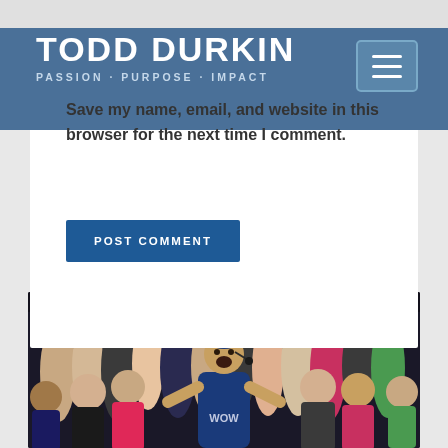TODD DURKIN — PASSION · PURPOSE · IMPACT
Save my name, email, and website in this browser for the next time I comment.
POST COMMENT
[Figure (photo): A large crowd of people at a fitness event, with a presenter in the center wearing a blue 'WOW' t-shirt and a headset microphone, surrounded by many participants in workout attire.]